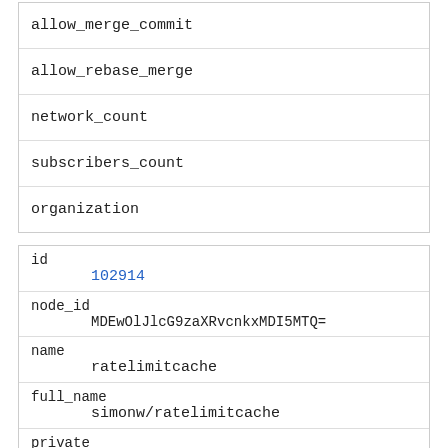| allow_merge_commit |
| allow_rebase_merge |
| network_count |
| subscribers_count |
| organization |
| id | 102914 |
| node_id | MDEwOlJlcG9zaXRvcnkxMDI5MTQ= |
| name | ratelimitcache |
| full_name | simonw/ratelimitcache |
| private | 0 |